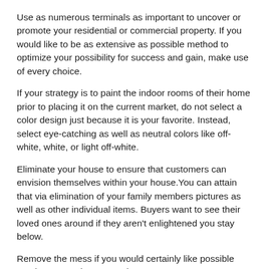Use as numerous terminals as important to uncover or promote your residential or commercial property. If you would like to be as extensive as possible method to optimize your possibility for success and gain, make use of every choice.
If your strategy is to paint the indoor rooms of their home prior to placing it on the current market, do not select a color design just because it is your favorite. Instead, select eye-catching as well as neutral colors like off-white, white, or light off-white.
Eliminate your house to ensure that customers can envision themselves within your house.You can attain that via elimination of your family members pictures as well as other individual items. Buyers want to see their loved ones around if they aren't enlightened you stay below.
Remove the mess if you would certainly like possible purchasers to situate your home.
When you disclose your home, open your drapes. Prospective consumers really like to observe just how bright a house can be from only sunlight. Raise the divider panels entirely while drawing all drapes and drapes.
Light candle lights or bake biscuits, not just for the smell however